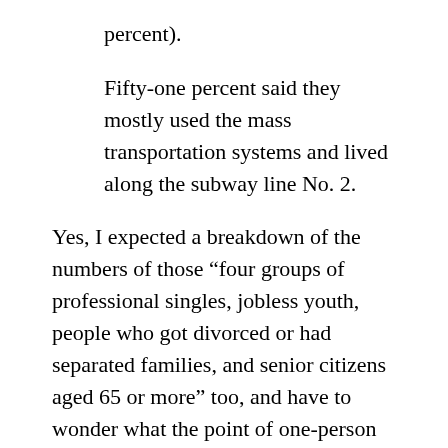percent).
Fifty-one percent said they mostly used the mass transportation systems and lived along the subway line No. 2.
Yes, I expected a breakdown of the numbers of those “four groups of professional singles, jobless youth, people who got divorced or had separated families, and senior citizens aged 65 or more” too, and have to wonder what the point of one-person households as a unit of analysis is, given how disparate the make-up and needs of each of those groups mentioned above are. At first I was very curious that there was